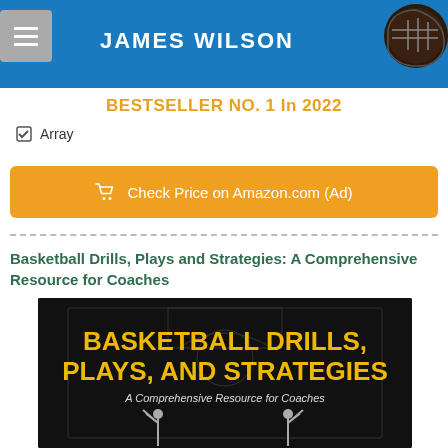[Figure (photo): Banner with blue background, James Wilson author name in white bold letters, basketball helmet/ball image on right, and a grey menu/hamburger icon on the left]
BESTSELLER NO. 1 In 2022
☑ Array
🛒 Check Price on Amazon.com (Ad)
Basketball Drills, Plays and Strategies: A Comprehensive Resource for Coaches
[Figure (photo): Book cover with black background showing 'BASKETBALL DRILLS, PLAYS, AND STRATEGIES' in bold yellow text, subtitle 'A Comprehensive Resource for Coaches' in white, basketball court outline and player silhouette at bottom]